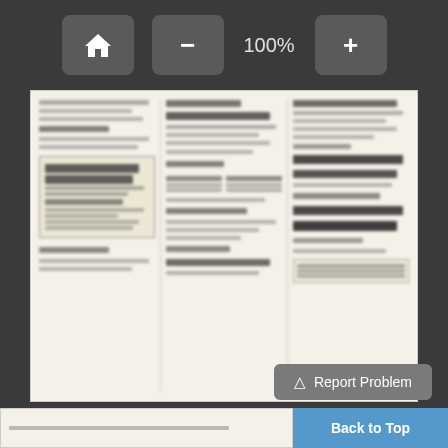[Figure (screenshot): Document viewer interface with top toolbar showing home button, zoom out (-), 100% zoom level, and zoom in (+) buttons on dark gray background]
[Figure (screenshot): Blurred newspaper or classified ads document preview showing three columns of text with various advertisements including bold headers and text lines]
[Figure (screenshot): Bottom toolbar with rotate left, rotate clockwise, and Select buttons, followed by Report Problem button and Back to Top button]